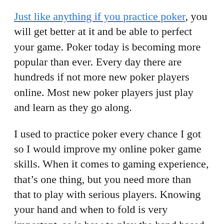Just like anything if you practice poker, you will get better at it and be able to perfect your game. Poker today is becoming more popular than ever. Every day there are hundreds if not more new poker players online. Most new poker players just play and learn as they go along.
I used to practice poker every chance I got so I would improve my online poker game skills. When it comes to gaming experience, that’s one thing, but you need more than that to play with serious players. Knowing your hand and when to fold is very important, as is how to play the hand based on your position at the poker table. Keeping track of where the dealer sits according to your position can tell you a lot.
Practicing poker techniques like playing your position at